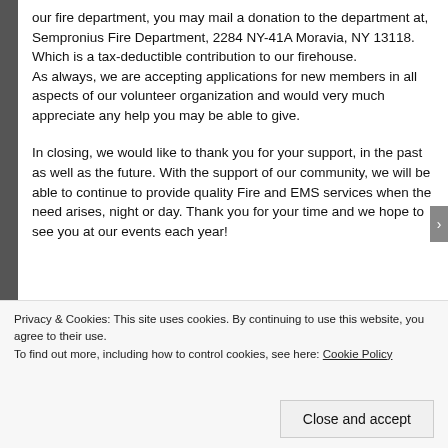our fire department, you may mail a donation to the department at, Sempronius Fire Department, 2284 NY-41A Moravia, NY 13118. Which is a tax-deductible contribution to our firehouse. As always, we are accepting applications for new members in all aspects of our volunteer organization and would very much appreciate any help you may be able to give.
In closing, we would like to thank you for your support, in the past as well as the future. With the support of our community, we will be able to continue to provide quality Fire and EMS services when the need arises, night or day. Thank you for your time and we hope to see you at our events each year!
Privacy & Cookies: This site uses cookies. By continuing to use this website, you agree to their use. To find out more, including how to control cookies, see here: Cookie Policy
Close and accept